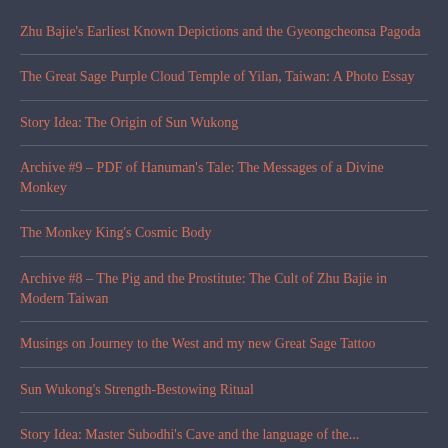Zhu Bajie's Earliest Known Depictions and the Gyeongcheonsa Pagoda
The Great Sage Purple Cloud Temple of Yilan, Taiwan: A Photo Essay
Story Idea: The Origin of Sun Wukong
Archive #9 – PDF of Hanuman's Tale: The Messages of a Divine Monkey
The Monkey King's Cosmic Body
Archive #8 – The Pig and the Prostitute: The Cult of Zhu Bajie in Modern Taiwan
Musings on Journey to the West and my new Great Sage Tattoo
Sun Wukong's Strength-Bestowing Ritual
Story Idea: Master Subodhi's Cave and the language of the...